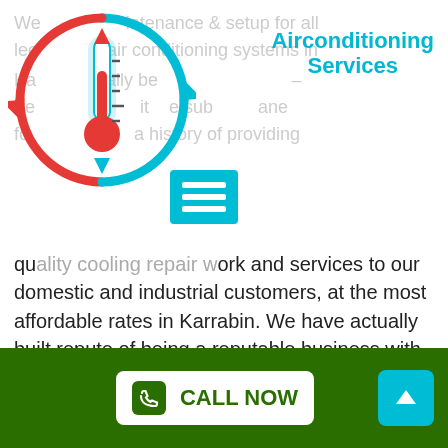[Figure (logo): Air conditioning service logo: circular arrows in red and blue around a thermometer icon]
Airconditioning Services
[Figure (other): Hamburger/menu icon in cyan]
We provide maintenance & setup for all leading air conditioning systems in Karrabin. We actually be... – frequently substitute propane for... with a history of providing quality cooling repair work and services to our domestic and industrial customers, at the most affordable rates in Karrabin. We have actually built repute of being a reputable business with the most innovative equipment and highly certified and experienced personnel.
We provide comfort to our clients not just for a day but for all year through with our 100% guaranteed services for all cooling repairs and upkeep. We are fully
CALL NOW